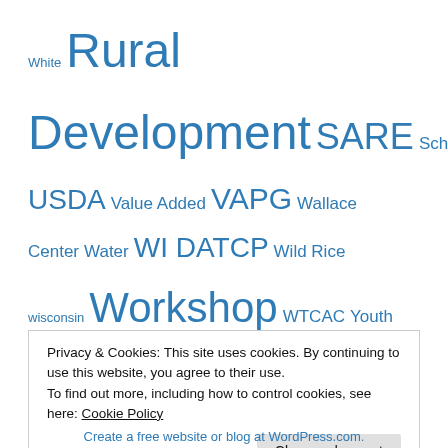White Rural Development SARE Scholarship Seeds USDA Value Added VAPG Wallace Center Water WI DATCP Wild Rice wisconsin Workshop WTCAC Youth
Blogroll
IAC Technical Assistance Network
IndianAg YouTube Channel
Indigenous Peoples Task Force
Intertribal Agriculture Council (IAC)
Mobile Farmers Market
Privacy & Cookies: This site uses cookies. By continuing to use this website, you agree to their use. To find out more, including how to control cookies, see here: Cookie Policy
Create a free website or blog at WordPress.com.